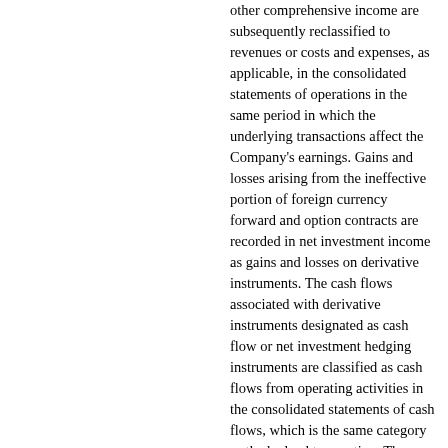other comprehensive income are subsequently reclassified to revenues or costs and expenses, as applicable, in the consolidated statements of operations in the same period in which the underlying transactions affect the Company's earnings. Gains and losses arising from the ineffective portion of foreign currency forward and option contracts are recorded in net investment income as gains and losses on derivative instruments. The cash flows associated with derivative instruments designated as cash flow or net investment hedging instruments are classified as cash flows from operating activities in the consolidated statements of cash flows, which is the same category as the hedged transaction. The cash flows associated with the ineffective portion of derivatives are classified as cash flows from investing activities in the consolidated statements of cash flows.
The aggregate fair value of the Company's foreign currency option and forward contracts used to hedge foreign currency risk recorded in total assets was $38 million and $11 million at September 29, 2013 and September 30